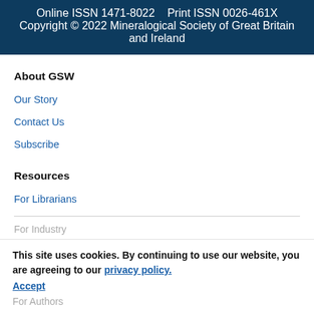Online ISSN 1471-8022   Print ISSN 0026-461X
Copyright © 2022 Mineralogical Society of Great Britain and Ireland
About GSW
Our Story
Contact Us
Subscribe
Resources
For Librarians
For Industry
This site uses cookies. By continuing to use our website, you are agreeing to our privacy policy.
Accept
For Authors